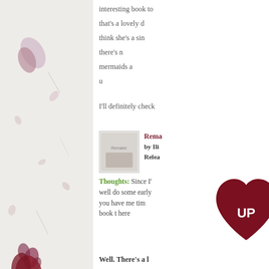[Figure (illustration): Decorative left panel with floral/petal elements on a light background]
interesting book to... that's a lovely d... think she's a sin... there's n... mermaids a... u...
I'll definitely check
[Figure (photo): Book cover image placeholder labeled 'Remake']
Remake by Ili... Relea...
Thoughts: Since I... well do some early... you have me tim... book t... here...
[Figure (logo): Dark red heart shape with 'UP' text in white]
Well. There's a l...